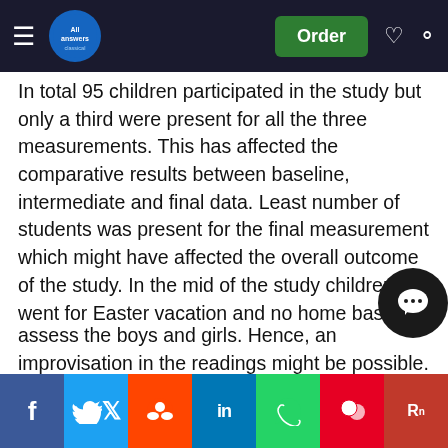AllAnswers Classical — Order
In total 95 children participated in the study but only a third were present for all the three measurements. This has affected the comparative results between baseline, intermediate and final data. Least number of students was present for the final measurement which might have affected the overall outcome of the study. In the mid of the study children went for Easter vacation and no home based program was given to maintain the effect of the intervention which has shown reverse results. Our scenario here supports the study by Aaron L et al which suggested a reversed intervention effects of the school based interventions during the summer vacations [42]. The physical activity hall in most of these schools were not enough to have one 20 m running lap as required for meter shuttle run test. A to and fro of 20 m were used to assess the boys and girls. Hence, an improvisation in the readings might be possible.